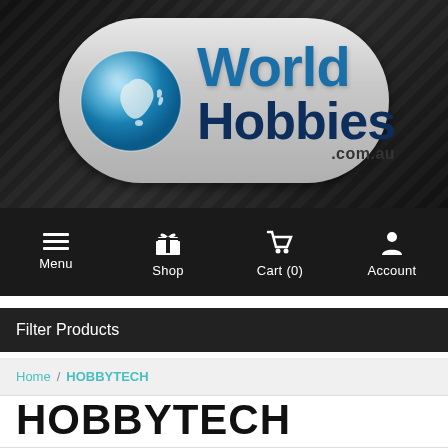[Figure (logo): World Hobbies .com.au logo — globe icon with Australia highlight, text 'World Hobbies .com.au' on a grey pill-shaped background over a dark textured banner]
Menu  Shop  Cart (0)  Account
Filter Products
Home / HOBBYTECH
HOBBYTECH